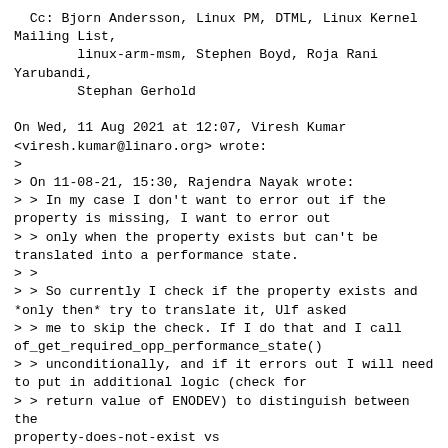Cc: Bjorn Andersson, Linux PM, DTML, Linux Kernel Mailing List,
        linux-arm-msm, Stephen Boyd, Roja Rani Yarubandi,
        Stephan Gerhold

On Wed, 11 Aug 2021 at 12:07, Viresh Kumar <viresh.kumar@linaro.org> wrote:
>
> On 11-08-21, 15:30, Rajendra Nayak wrote:
> > In my case I don't want to error out if the property is missing, I want to error out
> > only when the property exists but can't be translated into a performance state.
> >
> > So currently I check if the property exists and *only then* try to translate it, Ulf asked
> > me to skip the check. If I do that and I call of_get_required_opp_performance_state()
> > unconditionally, and if it errors out I will need to put in additional logic (check for
> > return value of ENODEV) to distinguish between the property-does-not-exist vs
> > property-exists-but-cannot-be-translated case.
> > It just seems more straight-forward to call this only when the property exists, Ulf?
>
> The same check will be done by OPP core as well, so it is better to
> optimize for the success case here. I will say, don't